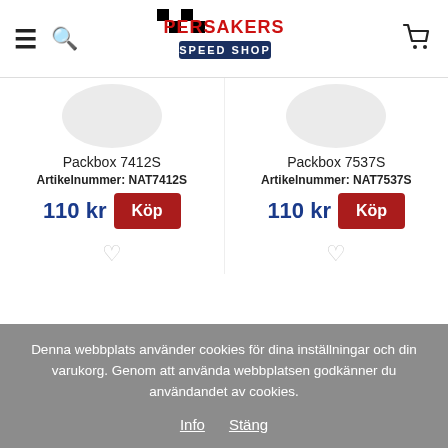Persakers Speed Shop — navigation header with hamburger, search, logo, cart
[Figure (screenshot): Partial product image (circular placeholder) for Packbox 7412S]
Packbox 7412S
Artikelnummer: NAT7412S
110 kr
Köp
[Figure (screenshot): Partial product image (circular placeholder) for Packbox 7537S]
Packbox 7537S
Artikelnummer: NAT7537S
110 kr
Köp
Denna webbplats använder cookies för dina inställningar och din varukorg. Genom att använda webbplatsen godkänner du användandet av cookies. Info Stäng